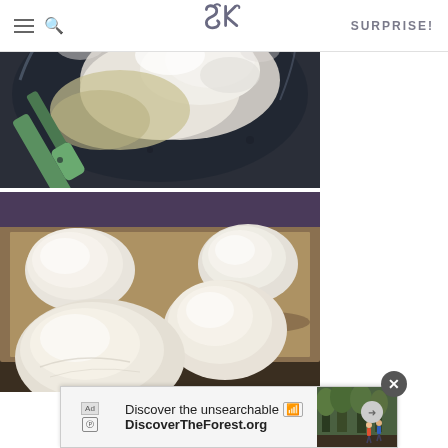SK — SURPRISE!
[Figure (photo): Overhead view of a mixing bowl with flour being mixed into a wet batter/dough mixture using a green silicone spatula]
[Figure (photo): Four rounded dough balls resting on parchment paper on a baking sheet, ready to proof]
[Figure (photo): Advertisement banner: Discover the unsearchable — DiscoverTheForest.org, showing hikers in a forest]